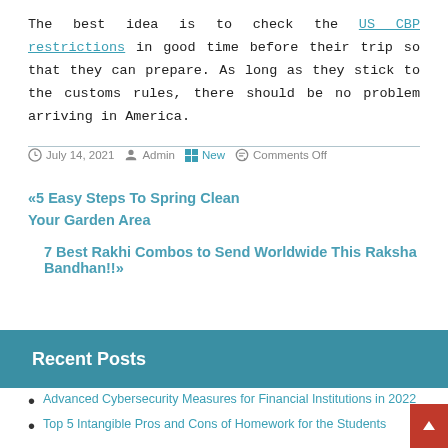The best idea is to check the US CBP restrictions in good time before their trip so that they can prepare. As long as they stick to the customs rules, there should be no problem arriving in America.
July 14, 2021  Admin  New  Comments Off
«5 Easy Steps To Spring Clean Your Garden Area
7 Best Rakhi Combos to Send Worldwide This Raksha Bandhan!!»
Recent Posts
Advanced Cybersecurity Measures for Financial Institutions in 2022
Top 5 Intangible Pros and Cons of Homework for the Students